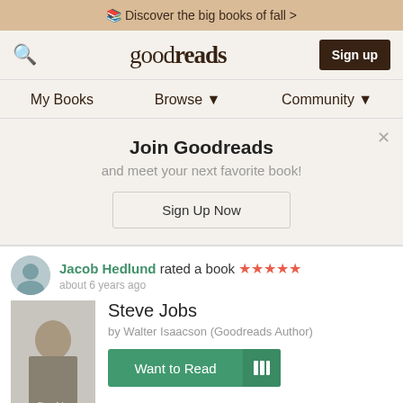Discover the big books of fall >
[Figure (screenshot): Goodreads navigation bar with search icon, goodreads logo, and Sign up button]
My Books   Browse ▼   Community ▼
Join Goodreads
and meet your next favorite book!
Sign Up Now
Jacob Hedlund rated a book ★★★★★
about 6 years ago
Steve Jobs
by Walter Isaacson (Goodreads Author)
Want to Read
Read in July 2016
I about this book...